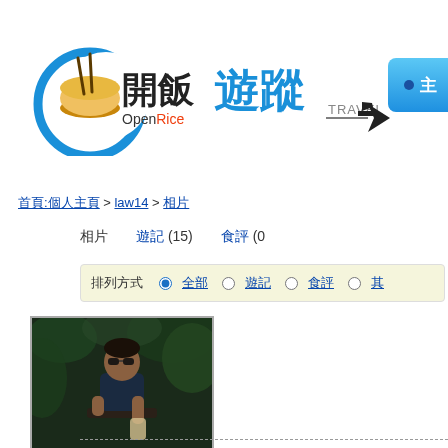[Figure (logo): OpenRice 開飯遊蹤 TRAVEL logo with bowl/chopsticks icon, Chinese characters, and airplane motif]
[Figure (illustration): Partially visible blue button with circle dot and Chinese character 主]
首頁:個人主頁 > law14 > 相片
相片   遊記 (15)   食評 (0
排列方式 ● 全部  ○ 遊記  ○ 食評  ○ 其
[Figure (photo): Man wearing sunglasses seated outdoors among tropical foliage, holding a drink, dark tones]